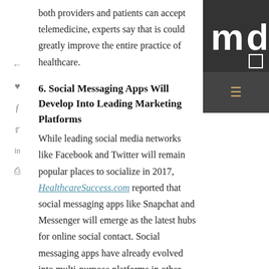both providers and patients can accept telemedicine, experts say that is could greatly improve the entire practice of healthcare.
6. Social Messaging Apps Will Develop Into Leading Marketing Platforms
While leading social media networks like Facebook and Twitter will remain popular places to socialize in 2017, HealthcareSuccess.com reported that social messaging apps like Snapchat and Messenger will emerge as the latest hubs for online social contact. Social messaging apps have already evolved into multi-purpose platforms in other parts of the world, so it was only a matter of time until this trend grew in popularity in the U.S. As the use of social
[Figure (logo): MDG logo - white letters 'mdg' on dark grey background with menu icon below]